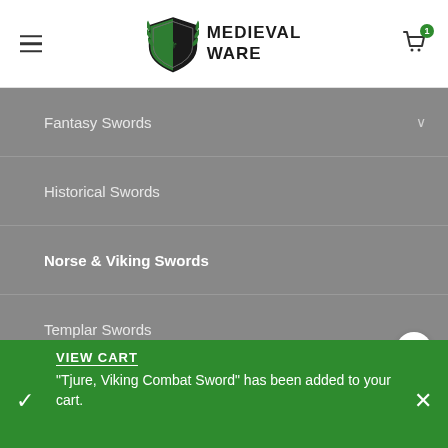Medieval Ware — site header with logo and cart icon
Fantasy Swords
Historical Swords
Norse & Viking Swords
Templar Swords
Uncategorised
Weapons
VIEW CART
"Tjure, Viking Combat Sword" has been added to your cart.